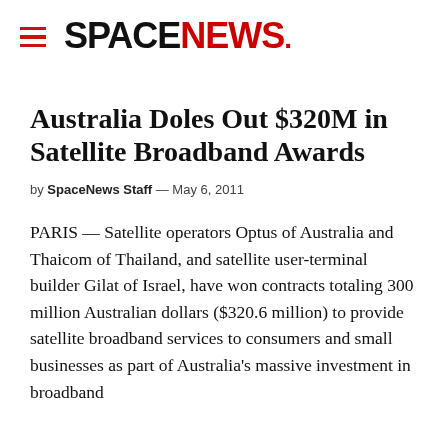SPACE NEWS
Australia Doles Out $320M in Satellite Broadband Awards
by SpaceNews Staff — May 6, 2011
PARIS — Satellite operators Optus of Australia and Thaicom of Thailand, and satellite user-terminal builder Gilat of Israel, have won contracts totaling 300 million Australian dollars ($320.6 million) to provide satellite broadband services to consumers and small businesses as part of Australia's massive investment in broadband